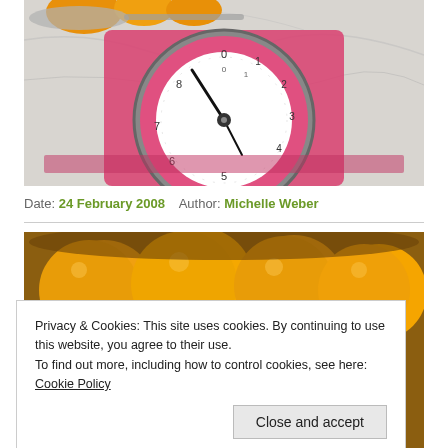[Figure (photo): Close-up photo of a vintage pink kitchen scale with a white dial face showing numbers, photographed on a marble surface with oranges/clementines visible at the top]
Date: 24 February 2008   Author: Michelle Weber
[Figure (photo): Photo of oranges/clementines in a bowl, partially visible, partially covered by cookie consent banner]
Privacy & Cookies: This site uses cookies. By continuing to use this website, you agree to their use.
To find out more, including how to control cookies, see here: Cookie Policy
Close and accept